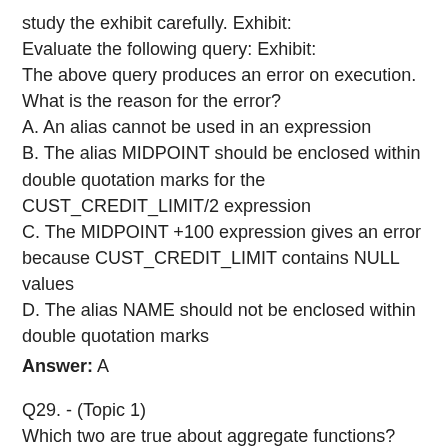study the exhibit carefully. Exhibit:
Evaluate the following query: Exhibit:
The above query produces an error on execution. What is the reason for the error?
A. An alias cannot be used in an expression
B. The alias MIDPOINT should be enclosed within double quotation marks for the CUST_CREDIT_LIMIT/2 expression
C. The MIDPOINT +100 expression gives an error because CUST_CREDIT_LIMIT contains NULL values
D. The alias NAME should not be enclosed within double quotation marks
Answer: A
Q29. - (Topic 1)
Which two are true about aggregate functions? (Choose two.)
A. You can use aggregate functions in any clause of a